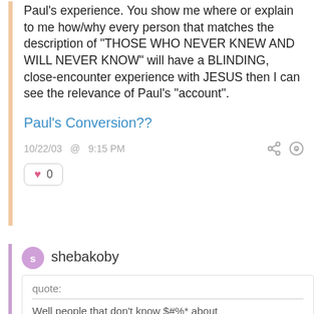Paul's experience. You show me where or explain to me how/why every person that matches the description of "THOSE WHO NEVER KNEW AND WILL NEVER KNOW" will have a BLINDING, close-encounter experience with JESUS then I can see the relevance of Paul's "account".
Paul's Conversion??
10/22/03  @  9:15 PM
0
shebakoby
quote:
Well people that don't know $#%* about